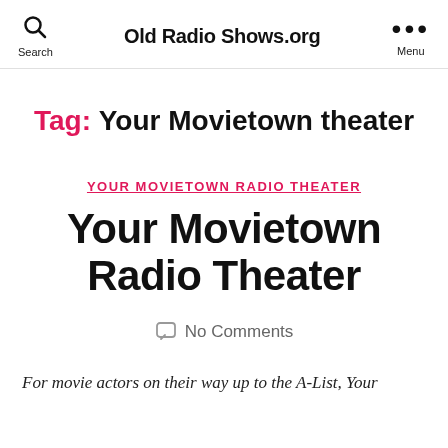Old Radio Shows.org
Tag: Your Movietown theater
YOUR MOVIETOWN RADIO THEATER
Your Movietown Radio Theater
No Comments
For movie actors on their way up to the A-List, Your